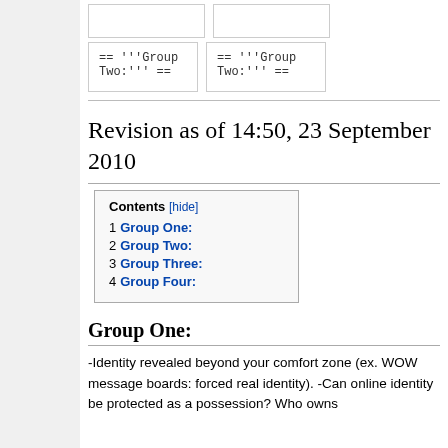[Figure (screenshot): Two empty bordered cells shown at top]
== '''Group Two:''' ==
== '''Group Two:''' ==
Revision as of 14:50, 23 September 2010
| Contents [hide] |
| 1 Group One: |
| 2 Group Two: |
| 3 Group Three: |
| 4 Group Four: |
Group One:
-Identity revealed beyond your comfort zone (ex. WOW message boards: forced real identity). -Can online identity be protected as a possession? Who owns